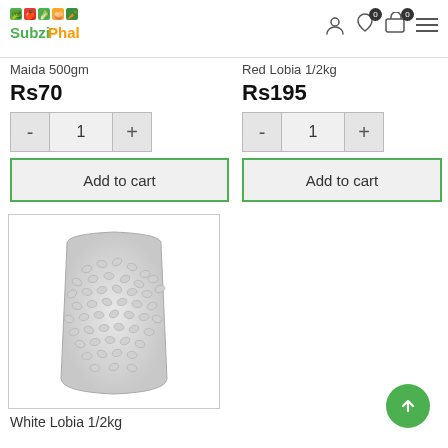SubziPhal - grocery shopping app header with logo, user icon, wishlist (0), cart (0), menu
Maida 500gm
Rs70
Red Lobia 1/2kg
Rs195
[Figure (photo): A sealed transparent plastic bag filled with white/light grey beans (White Lobia), shown against a white background inside a product card with grey border]
White Lobia 1/2kg